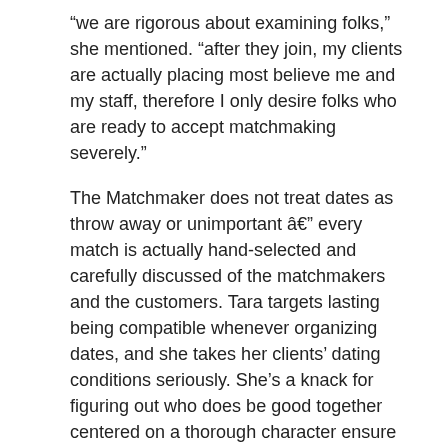“we are rigorous about examining folks,” she mentioned. “after they join, my clients are actually placing most believe me and my staff, therefore I only desire folks who are ready to accept matchmaking severely.”
The Matchmaker does not treat dates as throw away or unimportant â€” every match is actually hand-selected and carefully discussed of the matchmakers and the customers. Tara targets lasting being compatible whenever organizing dates, and she takes her clients’ dating conditions seriously. She’s a knack for figuring out who does be good together centered on a thorough character ensure that you her own instinct.
“many work are at inception,” she informed all of us. “The coordinating is not hard. Usually, by the time my personal customers go on their own next match, they’ve really found some body they wish to see once more.”